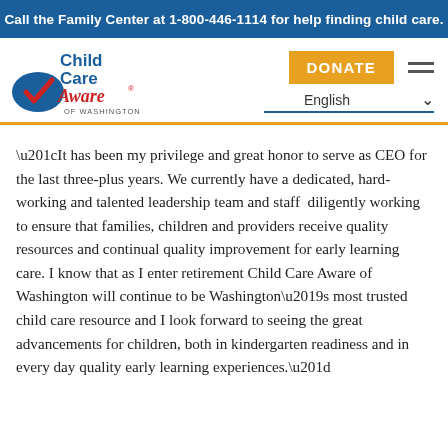Call the Family Center at 1-800-446-1114 for help finding child care.
[Figure (logo): Child Care Aware of Washington logo with red checkmark and blue/red text]
DONATE
English
“It has been my privilege and great honor to serve as CEO for the last three-plus years. We currently have a dedicated, hard-working and talented leadership team and staff  diligently working to ensure that families, children and providers receive quality resources and continual quality improvement for early learning care. I know that as I enter retirement Child Care Aware of Washington will continue to be Washington’s most trusted child care resource and I look forward to seeing the great advancements for children, both in kindergarten readiness and in every day quality early learning experiences.”